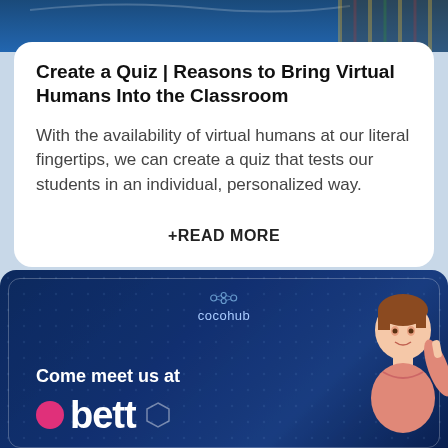[Figure (photo): Top banner with blue background, partial view of a person in colorful clothing]
Create a Quiz | Reasons to Bring Virtual Humans Into the Classroom
With the availability of virtual humans at our literal fingertips, we can create a quiz that tests our students in an individual, personalized way.
+READ MORE
[Figure (illustration): Cocohub branded dark blue banner with dotted grid background, text 'Come meet us at bett' with a pink dot logo element, and a virtual human avatar of a young man pointing upward on the right side]